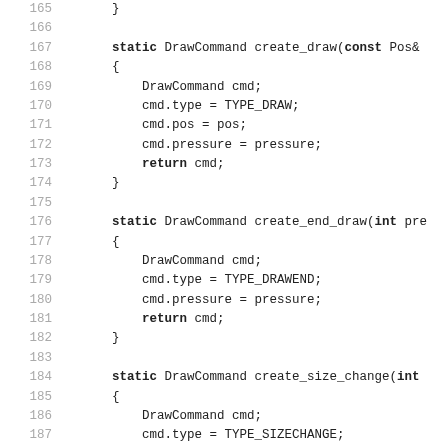Source code listing lines 165–194, showing static DrawCommand factory methods: create_draw, create_end_draw, create_size_change